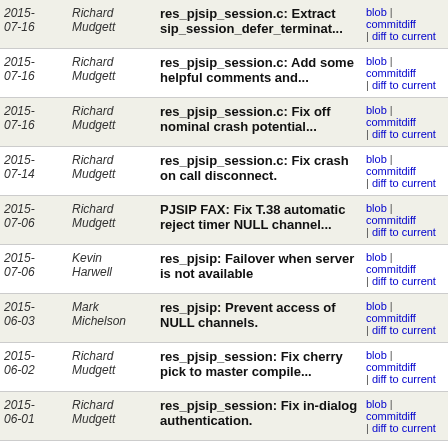| Date | Author | Message | Links |
| --- | --- | --- | --- |
| 2015-07-16 | Richard Mudgett | res_pjsip_session.c: Extract sip_session_defer_terminat... | blob | commitdiff | diff to current |
| 2015-07-16 | Richard Mudgett | res_pjsip_session.c: Add some helpful comments and... | blob | commitdiff | diff to current |
| 2015-07-16 | Richard Mudgett | res_pjsip_session.c: Fix off nominal crash potential... | blob | commitdiff | diff to current |
| 2015-07-14 | Richard Mudgett | res_pjsip_session.c: Fix crash on call disconnect. | blob | commitdiff | diff to current |
| 2015-07-06 | Richard Mudgett | PJSIP FAX: Fix T.38 automatic reject timer NULL channel... | blob | commitdiff | diff to current |
| 2015-07-06 | Kevin Harwell | res_pjsip: Failover when server is not available | blob | commitdiff | diff to current |
| 2015-06-03 | Mark Michelson | res_pjsip: Prevent access of NULL channels. | blob | commitdiff | diff to current |
| 2015-06-02 | Richard Mudgett | res_pjsip_session: Fix cherry pick to master compile... | blob | commitdiff | diff to current |
| 2015-06-01 | Richard Mudgett | res_pjsip_session: Fix in-dialog authentication. | blob | commitdiff | diff to current |
| 2015-05-13 | Rodrigo Ramirez... | AST_MODULE_INFO: Format corrections to the usages of... | blob | commitdiff | diff to current |